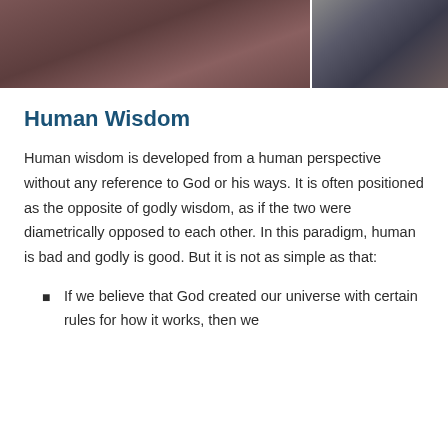[Figure (photo): Photograph showing two people seated, partially visible — appears to be a video frame or screenshot, split into two panels side by side]
Human Wisdom
Human wisdom is developed from a human perspective without any reference to God or his ways. It is often positioned as the opposite of godly wisdom, as if the two were diametrically opposed to each other. In this paradigm, human is bad and godly is good. But it is not as simple as that:
If we believe that God created our universe with certain rules for how it works, then we